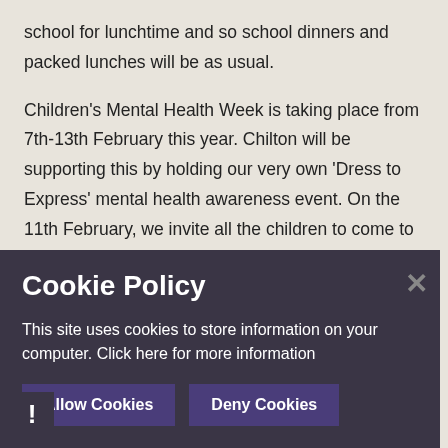school for lunchtime and so school dinners and packed lunches will be as usual.
Children's Mental Health Week is taking place from 7th-13th February this year. Chilton will be supporting this by holding our very own 'Dress to Express' mental health awareness event. On the 11th February, we invite all the children to come to school expressing themselves, by wearing bright colours. We look forward to seeing their expression outfits...
The art... The theme...
[Figure (screenshot): Cookie Policy overlay with dark purple background. Title 'Cookie Policy', body text 'This site uses cookies to store information on your computer. Click here for more information', and two buttons: 'Allow Cookies' and 'Deny Cookies'. Close button (x) in top right. Warning icon (!) in bottom left.]